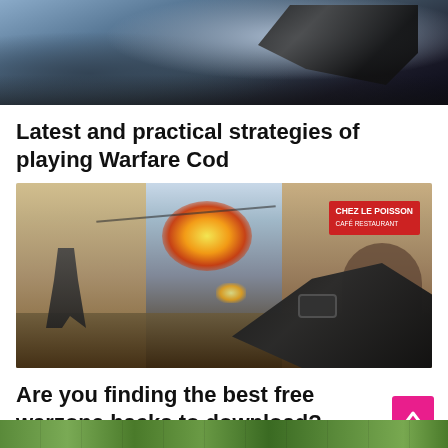[Figure (screenshot): Screenshot from a Call of Duty style video game showing a soldier with a weapon against a dark sky background]
Latest and practical strategies of playing Warfare Cod
[Figure (screenshot): Screenshot from Call of Duty Modern Warfare showing a street combat scene with explosions, soldiers, and a 'Chez Le Poisson' restaurant sign on the right]
Are you finding the best free warzone hacks to download?
[Figure (screenshot): Partial screenshot showing a green outdoor game environment at the bottom of the page]